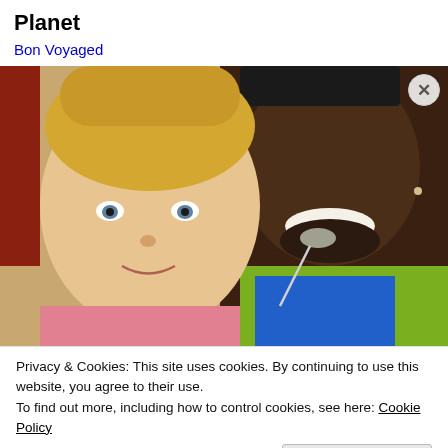Planet
Bon Voyaged
[Figure (photo): A selfie-style photo showing a young blonde girl and a smiling man with a beard wearing a blue shirt and yellow-green jacket with earbuds.]
Privacy & Cookies: This site uses cookies. By continuing to use this website, you agree to their use.
To find out more, including how to control cookies, see here: Cookie Policy
Close and accept